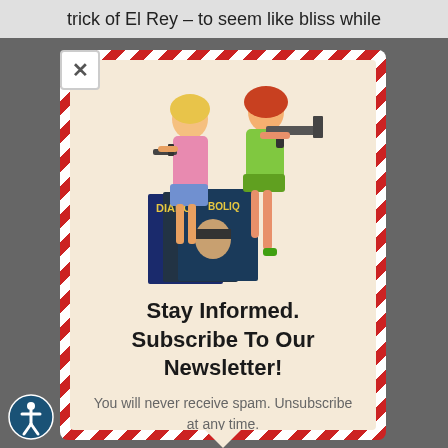trick of El Rey – to seem like bliss while
[Figure (illustration): Two illustrated women holding guns standing over pulp magazine covers (Diabo and Boliq titles)]
Stay Informed. Subscribe To Our Newsletter!
You will never receive spam. Unsubscribe at any time.